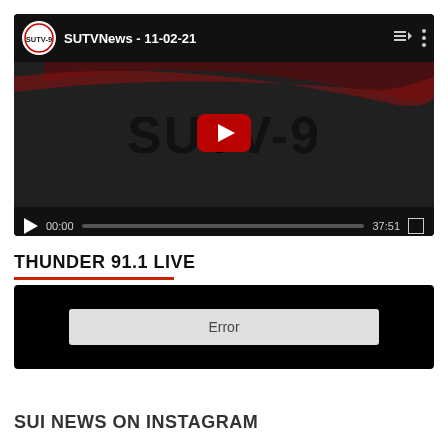[Figure (screenshot): YouTube embedded video player showing SUTVNews - 11-02-21 channel with SUTV-9 logo branding on dark thumbnail. Video controls show 00:00 current time and 37:51 total duration.]
THUNDER 91.1 LIVE
[Figure (screenshot): Audio/media player showing an Error message in a light gray box on a black background.]
SUI NEWS ON INSTAGRAM